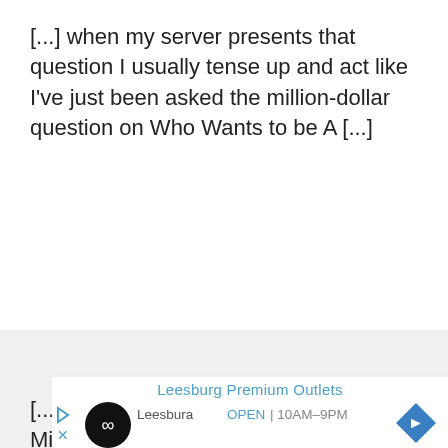[...] when my server presents that question I usually tense up and act like I've just been asked the million-dollar question on Who Wants to be A [...]
[...] 1. 19 Things Your Suburban Millionaire Neighbor Won't Tell You [...]
[Figure (infographic): Advertisement banner for Leesburg Premium Outlets showing logo circle with infinity-like icon, navigation/directions icon, play button, close button, location name 'Leesbura' and 'OPEN 10AM-9PM']